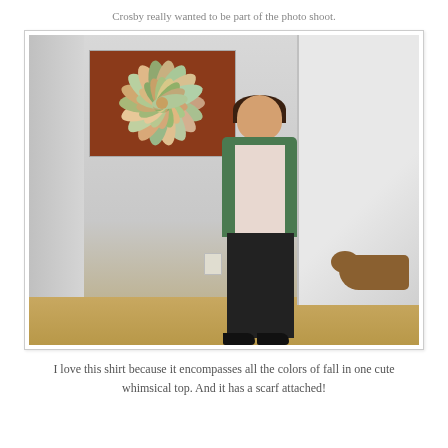Crosby really wanted to be part of the photo shoot.
[Figure (photo): A woman standing in a home entryway near a staircase, wearing a green cardigan over a floral top with dark pants and black heels. A decorative flower artwork hangs on the wall behind her. A dog is visible at her feet.]
I love this shirt because it encompasses all the colors of fall in one cute whimsical top. And it has a scarf attached!